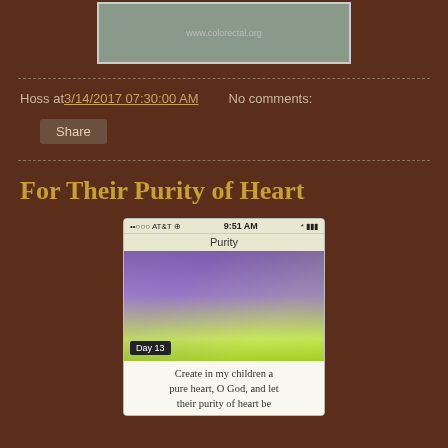[Figure (screenshot): Top banner image of a blog header with website URL www.colorectal.org and a landscape photo]
Hoss at 3/14/2017 07:30:00 AM   No comments:
Share
For Their Purity of Heart
[Figure (screenshot): Mobile phone screenshot showing a prayer app with status bar (AT&T, 9:51 AM), title 'Purity', a photo of purple lavender flowers with green background, Day 13 badge, and text 'Create in my children a pure heart, O God, and let their purity of heart be']